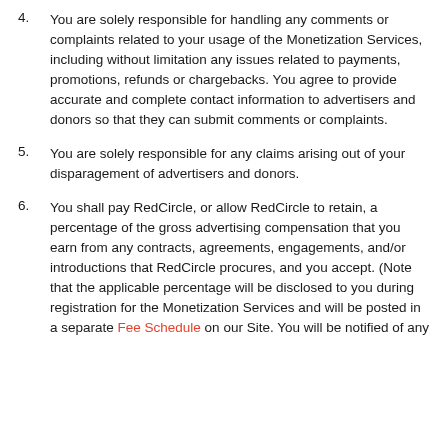4. You are solely responsible for handling any comments or complaints related to your usage of the Monetization Services, including without limitation any issues related to payments, promotions, refunds or chargebacks. You agree to provide accurate and complete contact information to advertisers and donors so that they can submit comments or complaints.
5. You are solely responsible for any claims arising out of your disparagement of advertisers and donors.
6. You shall pay RedCircle, or allow RedCircle to retain, a percentage of the gross advertising compensation that you earn from any contracts, agreements, engagements, and/or introductions that RedCircle procures, and you accept. (Note that the applicable percentage will be disclosed to you during registration for the Monetization Services and will be posted in a separate Fee Schedule on our Site. You will be notified of any